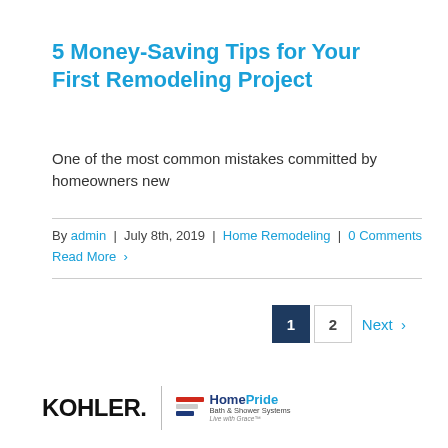5 Money-Saving Tips for Your First Remodeling Project
One of the most common mistakes committed by homeowners new
By admin | July 8th, 2019 | Home Remodeling | 0 Comments
Read More >
1  2  Next >
[Figure (logo): KOHLER logo and HomePride Bath & Shower Systems logo side by side with vertical divider]